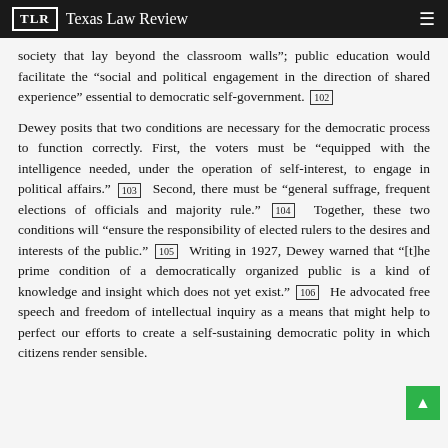TLR | Texas Law Review
society that lay beyond the classroom walls”; public education would facilitate the “social and political engagement in the direction of shared experience” essential to democratic self-government. [102]
Dewey posits that two conditions are necessary for the democratic process to function correctly. First, the voters must be “equipped with the intelligence needed, under the operation of self-interest, to engage in political affairs.” [103] Second, there must be “general suffrage, frequent elections of officials and majority rule.” [104] Together, these two conditions will “ensure the responsibility of elected rulers to the desires and interests of the public.” [105] Writing in 1927, Dewey warned that “[t]he prime condition of a democratically organized public is a kind of knowledge and insight which does not yet exist.” [106] He advocated free speech and freedom of intellectual inquiry as a means that might help to perfect our efforts to create a self-sustaining democratic polity in which citizens render sensible.